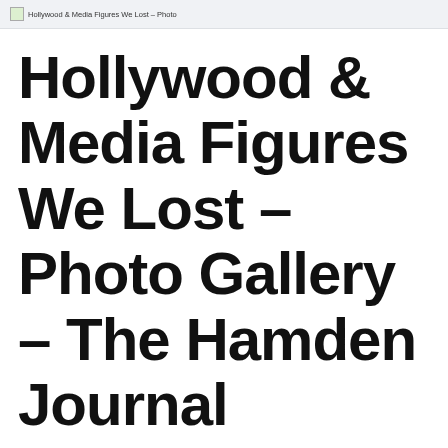Hollywood & Media Figures We Lost – Photo
Hollywood & Media Figures We Lost – Photo Gallery – The Hamden Journal
December 31, 2021 by Claudia Bergnaum